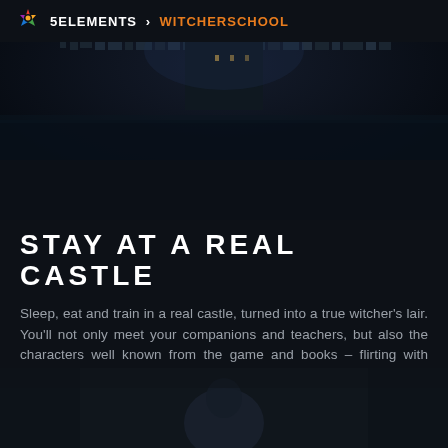5ELEMENTS > WITCHERSCHOOL
[Figure (photo): Dark atmospheric photo of a castle reflected in water at night]
STAY AT A REAL CASTLE
Sleep, eat and train in a real castle, turned into a true witcher's lair. You'll not only meet your companions and teachers, but also the characters well known from the game and books – flirting with Filippa Eilhart, a friendly spar with Vesemir, a tete-a-tete with Iorveth or a demonic pact with Gaunter O'Dim – all is possible!
[Figure (photo): Dark photo showing a person in costume at the bottom of the page]